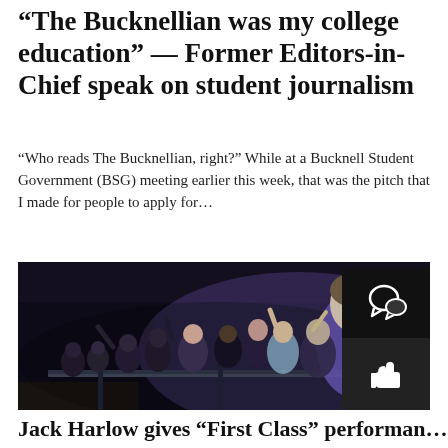'The Bucknellian was my college education' — Former Editors-in-Chief speak on student journalism
"Who reads The Bucknellian, right?" While at a Bucknell Student Government (BSG) meeting earlier this week, that was the pitch that I made for people to apply for...
[Figure (photo): Concert crowd photo showing young people pressed against a barrier at a music event. The crowd is energetic and excited, with arms raised. A young man in a purple/blue shirt is prominent on the right side. The background is dark with stage lighting. A dark overlay icon panel with chat and thumbs-up icons is visible in the bottom right corner.]
Jack Harlow gives "First Class" performan...